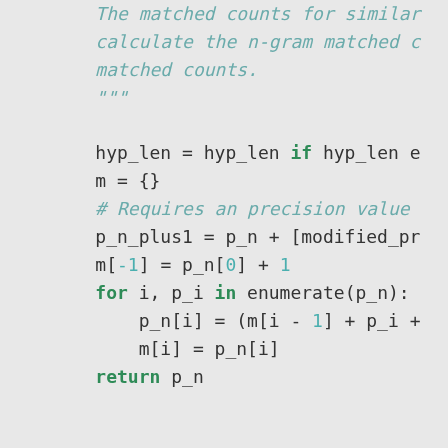[Figure (screenshot): Python source code snippet showing a method with docstring, variable assignments, a for loop, and a function definition. Code uses monospace font on gray background with green keywords and teal comments/strings.]